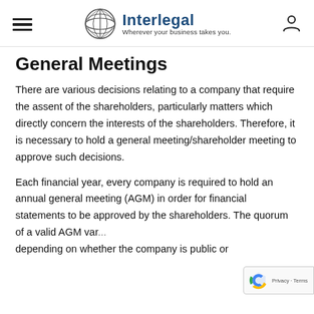Interlegal – Wherever your business takes you.
General Meetings
There are various decisions relating to a company that require the assent of the shareholders, particularly matters which directly concern the interests of the shareholders. Therefore, it is necessary to hold a general meeting/shareholder meeting to approve such decisions.
Each financial year, every company is required to hold an annual general meeting (AGM) in order for financial statements to be approved by the shareholders. The quorum of a valid AGM var... depending on whether the company is public or...